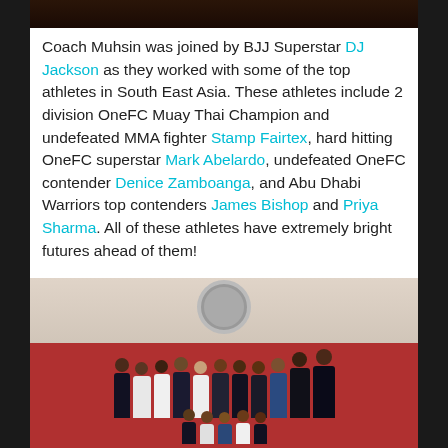[Figure (photo): Partial top edge of a photo, cropped at top of page]
Coach Muhsin was joined by BJJ Superstar DJ Jackson as they worked with some of the top athletes in South East Asia.  These athletes include 2 division OneFC Muay Thai Champion and undefeated MMA fighter Stamp Fairtex, hard hitting OneFC superstar Mark Abelardo, undefeated OneFC contender Denice Zamboanga, and Abu Dhabi Warriors top contenders James Bishop and Priya Sharma.  All of these athletes have extremely bright futures ahead of them!
Muhsin also coached BJJ athletes of all levels while in Thailand.
[Figure (photo): Group photo of BJJ athletes and coaches posing together in a gym with red walls, wearing various gi uniforms (white, dark, blue). A ceiling fan is visible in the background.]